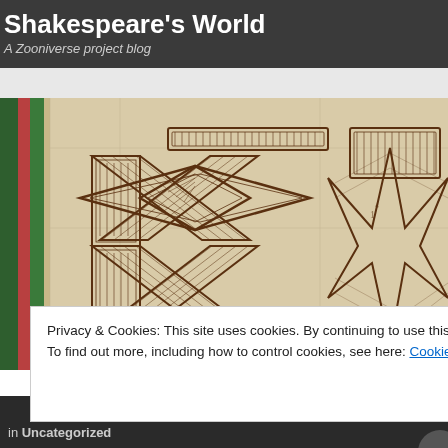Shakespeare's World
A Zooniverse project blog
[Figure (illustration): Close-up of a historical manuscript page showing interlocking geometric diamond/knot patterns in brown ink with hatching, and a star shape on the right side. Green and red vertical stripes on the left margin.]
Archives | August 2017
Privacy & Cookies: This site uses cookies. By continuing to use this website, you agree to their use.
To find out more, including how to control cookies, see here: Cookie Policy
Close and accept
in Uncategorized